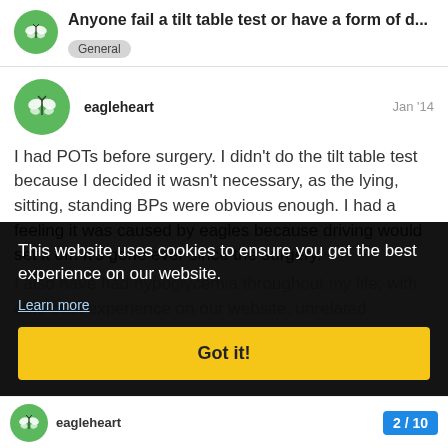Anyone fail a tilt table test or have a form of d...
General
eagleheart
Jan '14
I had POTs before surgery. I didn't do the tilt table test because I decided it wasn't necessary, as the lying, sitting, standing BPs were obvious enough. I had a feeling it was caused by eagles because driving would set it off. It's gone ever since the surgery.
I also have had hypoglycemia throughout my life, with able best experience on our website. unrelated
This website uses cookies to ensure you get the best experience on our website.
Learn more
Got it!
eagleheart
2 / 10